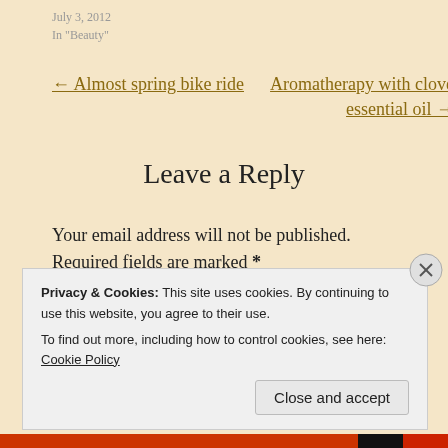July 3, 2012
In "Beauty"
← Almost spring bike ride
Aromatherapy with clove essential oil →
Leave a Reply
Your email address will not be published. Required fields are marked *
Privacy & Cookies: This site uses cookies. By continuing to use this website, you agree to their use.
To find out more, including how to control cookies, see here: Cookie Policy
Close and accept